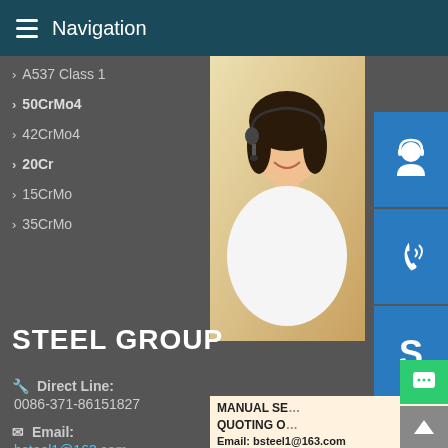Navigation
› A537 Class 1
› 50CrMo4
› 42CrMo4
› 20Cr
› 15CrMo
› 35CrMo
› P235G…
› 51CrV…
› 12Cr1…
› 40Cr
› 30CrM…
› 42CrM…
[Figure (photo): Customer service representative with headset]
[Figure (infographic): Three icons: customer service headset, phone with signal waves, Skype S logo]
MANUAL SE… QUOTING O… Email: bsteel1@163.com
STEEL GROUP
Direct Line:
0086-371-86151827
Email:
bsteel1@163.com
Address:
Zhengzhou City, Henan, China
[Figure (infographic): Green chat bubble button]
[Figure (infographic): Grey up arrow button]